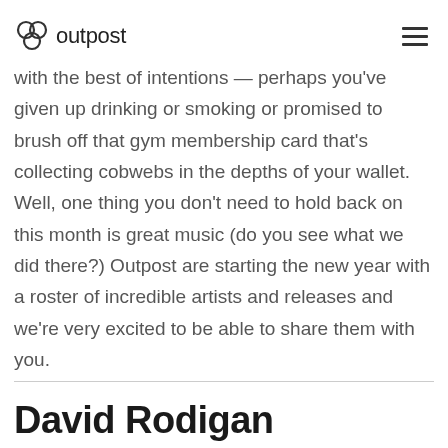outpost
with the best of intentions — perhaps you've given up drinking or smoking or promised to brush off that gym membership card that's collecting cobwebs in the depths of your wallet. Well, one thing you don't need to hold back on this month is great music (do you see what we did there?) Outpost are starting the new year with a roster of incredible artists and releases and we're very excited to be able to share them with you.
David Rodigan